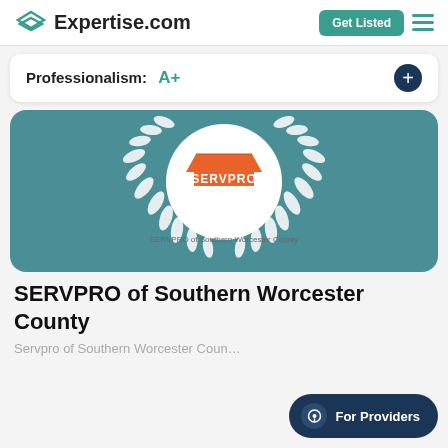Expertise.com — Get Listed (menu)
Professionalism: A+
[Figure (logo): SERVPRO of Southern Worcester County award badge: circular white logo with SERVPRO orange house logo in center, surrounded by white laurel wreath on teal/dark-teal background]
SERVPRO of Southern Worcester County
Servpro of Southern Worcester County
For Providers